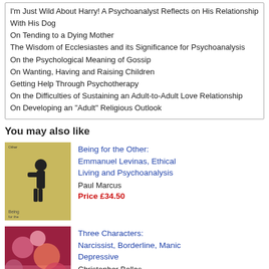I'm Just Wild About Harry! A Psychoanalyst Reflects on His Relationship With His Dog
On Tending to a Dying Mother
The Wisdom of Ecclesiastes and its Significance for Psychoanalysis
On the Psychological Meaning of Gossip
On Wanting, Having and Raising Children
Getting Help Through Psychotherapy
On the Difficulties of Sustaining an Adult-to-Adult Love Relationship
On Developing an "Adult" Religious Outlook
You may also like
[Figure (illustration): Book cover of 'Being for the Other: Emmanuel Levinas, Ethical Living and Psychoanalysis' showing a silhouette figure on a yellow/beige background]
Being for the Other: Emmanuel Levinas, Ethical Living and Psychoanalysis
Paul Marcus
Price £34.50
[Figure (illustration): Book cover of 'Three Characters: Narcissist, Borderline, Manic Depressive' with colorful abstract/microscopic imagery on pink/red background]
Three Characters: Narcissist, Borderline, Manic Depressive
Christopher Bollas
Price £16.19
save £1.80
[Figure (illustration): Partial book cover visible at bottom of page]